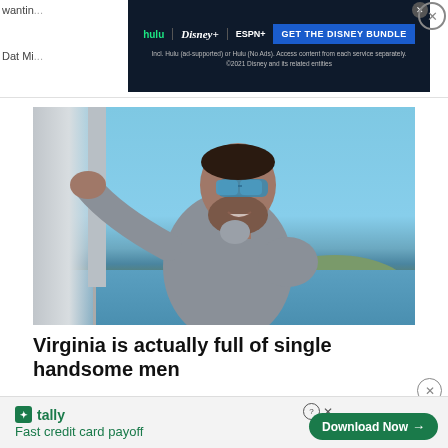[Figure (photo): Advertisement banner for Disney Bundle featuring Hulu, Disney+, and ESPN+ logos with blue background and 'GET THE DISNEY BUNDLE' call to action button. Fine print reads: Incl. Hulu (ad-supported) or Hulu (No Ads). Access content from each service separately. ©2021 Disney and its related entities]
[Figure (photo): Photo of a man with sunglasses and beard smiling on a boat, wearing a grey long-sleeve shirt. Blue sky and water visible in background with tree-lined hills.]
Virginia is actually full of single handsome men
DateMyAge | Sponsored
[Figure (photo): Tally advertisement banner: 'Fast credit card payoff' with green Tally logo and 'Download Now' button]